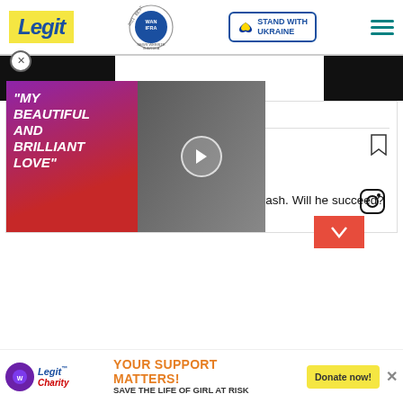Legit | WAN IFRA 2021 Best News Website in Africa | Stand with Ukraine
View more on Instagram
1,384 likes
luckyudu
He believe he can make millions from plastic trash. Will he succeed? (Full video on my Facebook page) #luckyudu
[Figure (screenshot): Video thumbnail showing two people with text 'MY BEAUTIFUL AND BRILLIANT LOVE' overlaid on a purple-red background with a play button]
YOUR SUPPORT MATTERS! SAVE THE LIFE OF GIRL AT RISK